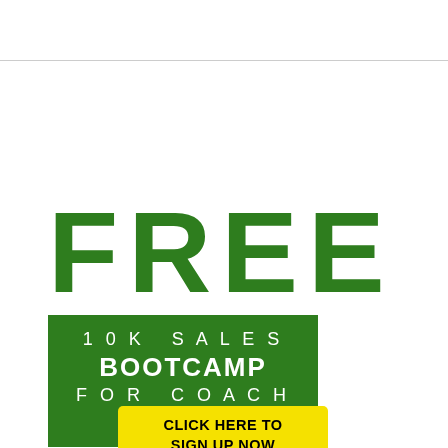FREE
[Figure (infographic): Green rectangular box containing text: '10K SALES BOOTCAMP FOR COACHES' in white on green background]
CLICK HERE TO SIGN UP NOW